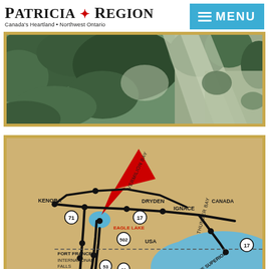[Figure (logo): Patricia Region logo with maple leaf and text 'Canada's Heartland • Northwest Ontario']
[Figure (other): MENU button with hamburger icon on cyan/blue background]
[Figure (photo): Aerial satellite view of forest and dirt road/clearing, framed in gold border]
[Figure (map): Regional map showing Northwestern Ontario with Kenora, Vermilion Bay, Dryden, Eagle Lake (highlighted in blue with red arrow), Ignace, Fort Frances, International Falls, Thunder Bay, Lake Superior, USA and Canada labels, and highway numbers 17, 71, 502, 53, 61]